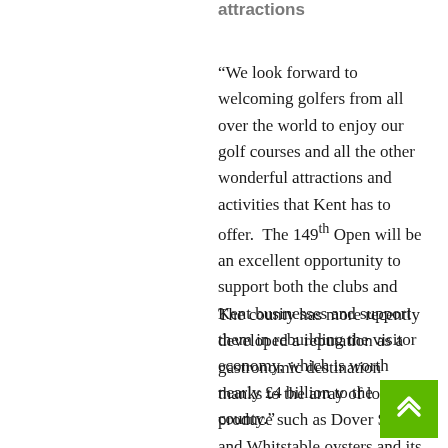attractions
“We look forward to welcoming golfers from all over the world to enjoy our golf courses and all the other wonderful attractions and activities that Kent has to offer.  The 149th Open will be an excellent opportunity to support both the clubs and Kent businesses and support them in rebuilding the visitor economy, which is worth nearly £4 billion to the county.”
The county has more recently developed a reputation as a gastronomic destination thanks to the array of local produce such as Dover Sole and Whitstable oysters and its plethora of Michelin-starred restaurants and gastropubs. Kent is also home to